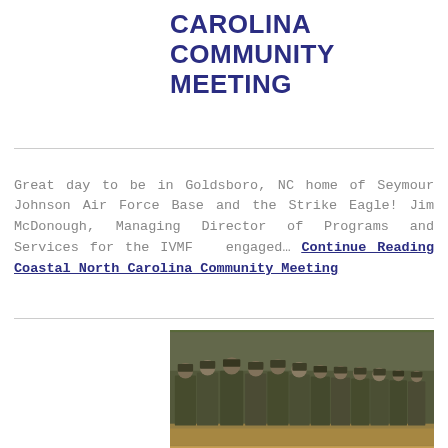CAROLINA COMMUNITY MEETING
Great day to be in Goldsboro, NC home of Seymour Johnson Air Force Base and the Strike Eagle! Jim McDonough, Managing Director of Programs and Services for the IVMF engaged… Continue Reading Coastal North Carolina Community Meeting
[Figure (photo): Group of military personnel in camouflage uniforms standing in formation outdoors]